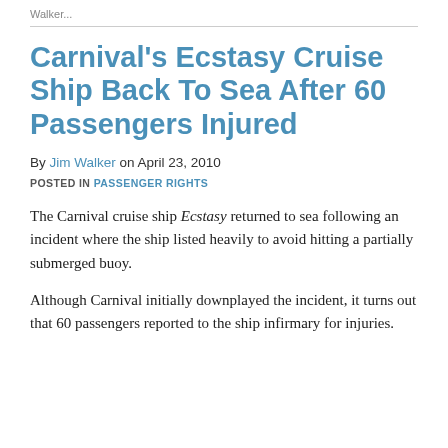Walker...
Carnival's Ecstasy Cruise Ship Back To Sea After 60 Passengers Injured
By Jim Walker on April 23, 2010
POSTED IN PASSENGER RIGHTS
The Carnival cruise ship Ecstasy returned to sea following an incident where the ship listed heavily to avoid hitting a partially submerged buoy.
Although Carnival initially downplayed the incident, it turns out that 60 passengers reported to the ship infirmary for injuries.